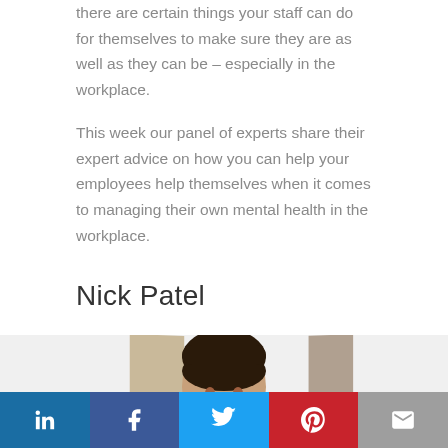there are certain things your staff can do for themselves to make sure they are as well as they can be – especially in the workplace.
This week our panel of experts share their expert advice on how you can help your employees help themselves when it comes to managing their own mental health in the workplace.
Nick Patel
[Figure (photo): Partial photo of Nick Patel (head and shoulders) with books visible on either side, shown from mid-chest up against a white background.]
LinkedIn | Facebook | Twitter | Pinterest | Email